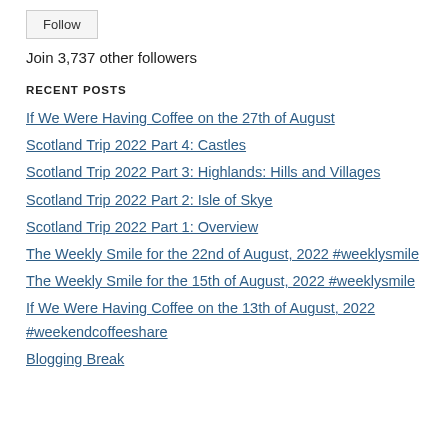Follow
Join 3,737 other followers
RECENT POSTS
If We Were Having Coffee on the 27th of August
Scotland Trip 2022 Part 4: Castles
Scotland Trip 2022 Part 3: Highlands: Hills and Villages
Scotland Trip 2022 Part 2: Isle of Skye
Scotland Trip 2022 Part 1: Overview
The Weekly Smile for the 22nd of August, 2022 #weeklysmile
The Weekly Smile for the 15th of August, 2022 #weeklysmile
If We Were Having Coffee on the 13th of August, 2022 #weekendcoffeeshare
Blogging Break